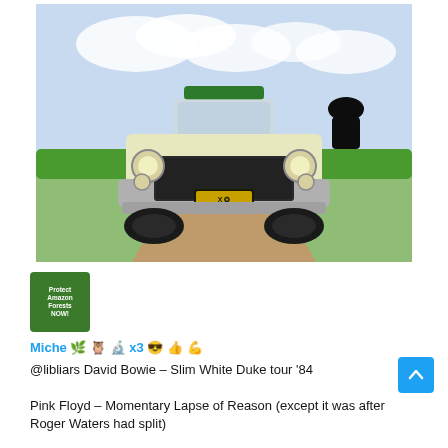[Figure (illustration): Watercolor illustration of a vintage 1950s-style automobile viewed from the front, on a dirt road with green grass and blue sky background. A black silhouette of a person wearing a hat is visible on the right side of the car. The car has a yellow-green hood, chrome grille, and a dark license plate.]
[Figure (photo): Small square avatar image showing text 'Protect Amazon Forests Now!' with green forest imagery]
Miche 🌿 🦉 🔬 x3 😎 👍 💪
@libliars David Bowie – Slim White Duke tour '84
Pink Floyd – Momentary Lapse of Reason (except it was after Roger Waters had split)